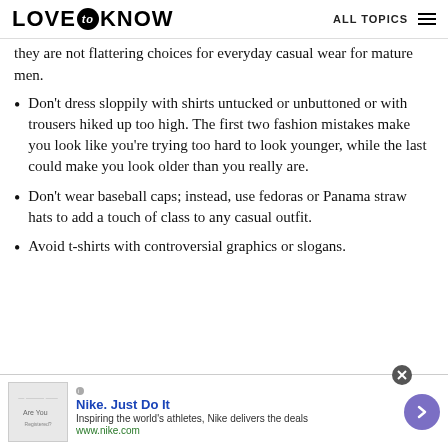LOVE to KNOW | ALL TOPICS
they are not flattering choices for everyday casual wear for mature men.
Don't dress sloppily with shirts untucked or unbuttoned or with trousers hiked up too high. The first two fashion mistakes make you look like you're trying too hard to look younger, while the last could make you look older than you really are.
Don't wear baseball caps; instead, use fedoras or Panama straw hats to add a touch of class to any casual outfit.
Avoid t-shirts with controversial graphics or slogans.
[Figure (screenshot): Nike advertisement banner: 'Nike. Just Do It' with tagline 'Inspiring the world's athletes, Nike delivers the deals' and url www.nike.com, with a purple arrow button and close button]